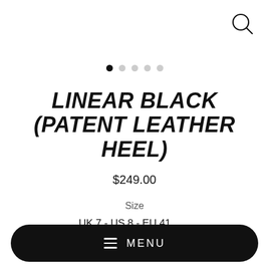[Figure (other): Search magnifying glass icon in top-right corner]
[Figure (other): Carousel dot indicators: 5 dots, first one filled black, rest gray]
LINEAR BLACK (PATENT LEATHER HEEL)
$249.00
Size
UK 7 - US 8 - EU 41
MENU